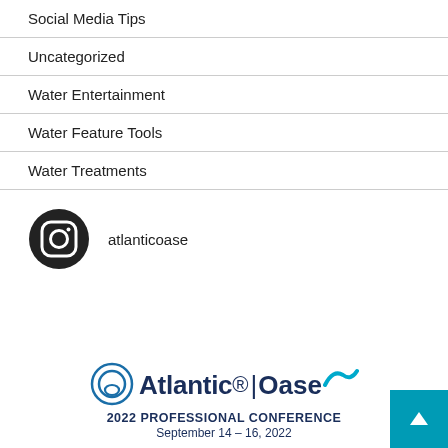Social Media Tips
Uncategorized
Water Entertainment
Water Feature Tools
Water Treatments
[Figure (logo): Instagram icon with handle 'atlanticoase']
[Figure (logo): Atlantic|Oase 2022 Professional Conference logo, September 14-16, 2022]